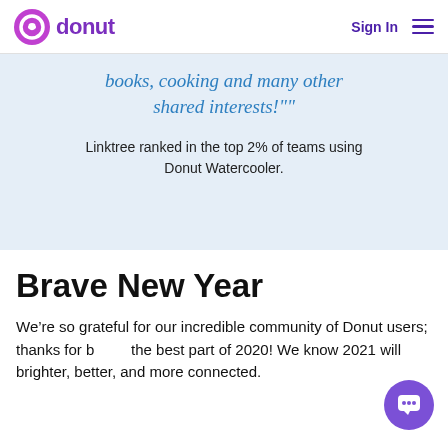donut | Sign In
books, cooking and many other shared interests!""
Linktree ranked in the top 2% of teams using Donut Watercooler.
Brave New Year
We’re so grateful for our incredible community of Donut users; thanks for being the best part of 2020! We know 2021 will be brighter, better, and more connected.